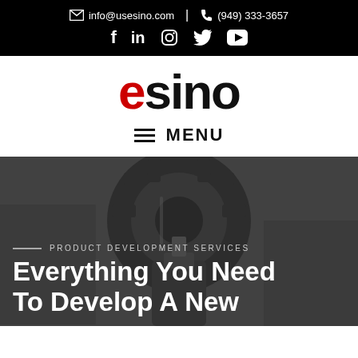info@usesino.com | (949) 333-3657
[Figure (logo): ESINO logo with red E and black SINO text]
MENU
[Figure (photo): Close-up photo of industrial machining equipment (CNC or gear machinery) with dark overlay]
PRODUCT DEVELOPMENT SERVICES
Everything You Need To Develop A New